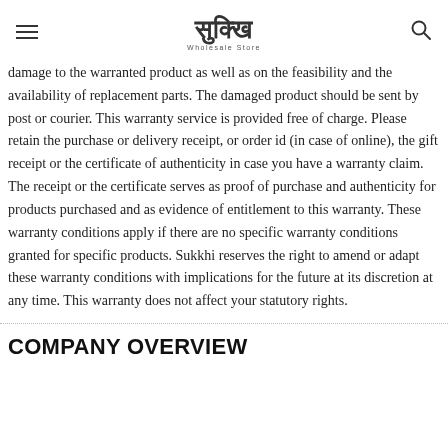[Hamburger menu] Sukkhi Wholesale Store [Search icon]
damage to the warranted product as well as on the feasibility and the availability of replacement parts. The damaged product should be sent by post or courier. This warranty service is provided free of charge. Please retain the purchase or delivery receipt, or order id (in case of online), the gift receipt or the certificate of authenticity in case you have a warranty claim. The receipt or the certificate serves as proof of purchase and authenticity for products purchased and as evidence of entitlement to this warranty. These warranty conditions apply if there are no specific warranty conditions granted for specific products. Sukkhi reserves the right to amend or adapt these warranty conditions with implications for the future at its discretion at any time. This warranty does not affect your statutory rights.
COMPANY OVERVIEW